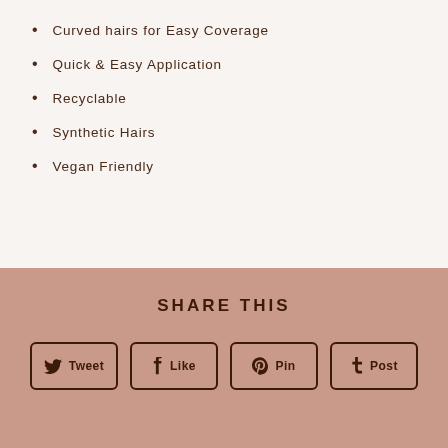Curved hairs for Easy Coverage
Quick & Easy Application
Recyclable
Synthetic Hairs
Vegan Friendly
SHARE THIS
Tweet | Like | Pin | Post